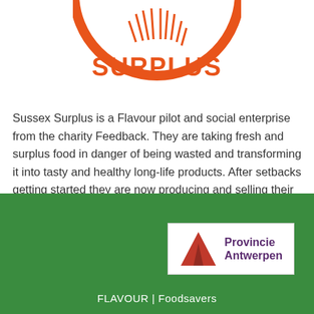[Figure (logo): Sussex Surplus orange circular logo showing the text SURPLUS in large letters with decorative elements above]
Sussex Surplus is a Flavour pilot and social enterprise from the charity Feedback. They are taking fresh and surplus food in danger of being wasted and transforming it into tasty and healthy long-life products. After setbacks getting started they are now producing and selling their first product; pumpkin soup! Based in Brighton in the south [...]
[Figure (logo): Provincie Antwerpen logo with red triangle/mountain shape and purple text reading Provincie Antwerpen]
FLAVOUR | Foodsavers